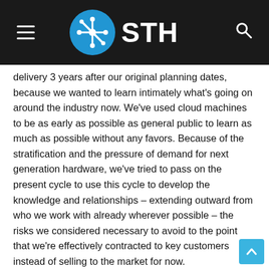STH (ServeTheHome)
delivery 3 years after our original planning dates, because we wanted to learn intimately what's going on around the industry now. We've used cloud machines to be as early as possible as general public to learn as much as possible without any favors. Because of the stratification and the pressure of demand for next generation hardware, we've tried to pass on the present cycle to use this cycle to develop the knowledge and relationships – extending outward from who we work with already wherever possible – the risks we considered necessary to avoid to the point that we're effectively contracted to key customers instead of selling to the market for now.
apart from boasting about the results I've helped get negotiating with vendors, I'm wanting to say that if you are likewise talking with new people and new channels, from where I see lots of people are almost sitting this